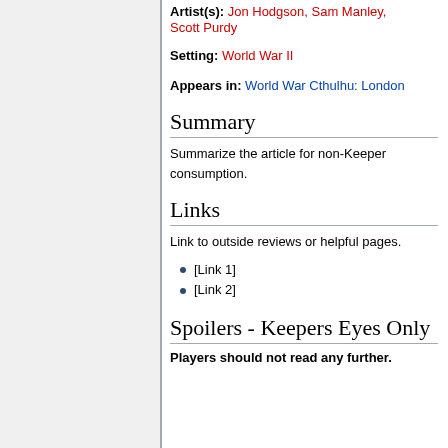Artist(s): Jon Hodgson, Sam Manley, Scott Purdy
Setting: World War II
Appears in: World War Cthulhu: London
Summary
Summarize the article for non-Keeper consumption.
Links
Link to outside reviews or helpful pages.
[Link 1]
[Link 2]
Spoilers - Keepers Eyes Only
Players should not read any further.